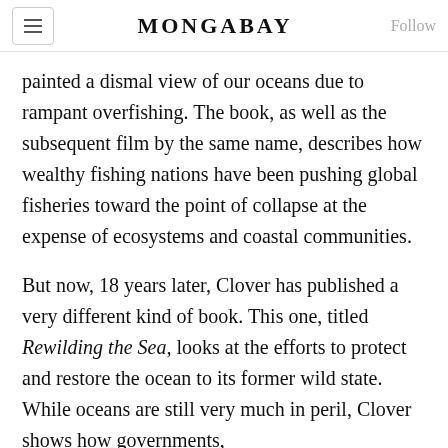MONGABAY
painted a dismal view of our oceans due to rampant overfishing. The book, as well as the subsequent film by the same name, describes how wealthy fishing nations have been pushing global fisheries toward the point of collapse at the expense of ecosystems and coastal communities.
But now, 18 years later, Clover has published a very different kind of book. This one, titled Rewilding the Sea, looks at the efforts to protect and restore the ocean to its former wild state. While oceans are still very much in peril, Clover shows how governments,